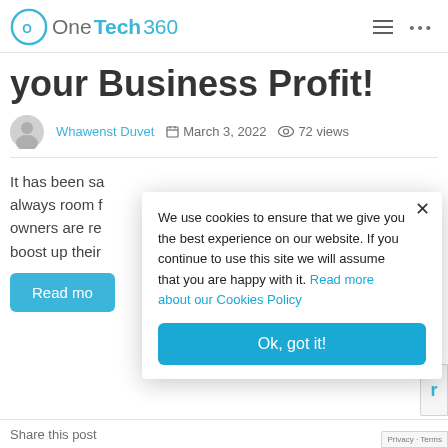OneTech360
your Business Profit!
Whawenst Duvet   March 3, 2022   72 views
It has been sa always room f owners are re boost up their
Read mo
We use cookies to ensure that we give you the best experience on our website. If you continue to use this site we will assume that you are happy with it. Read more about our Cookies Policy
Ok, got it!
Share this post